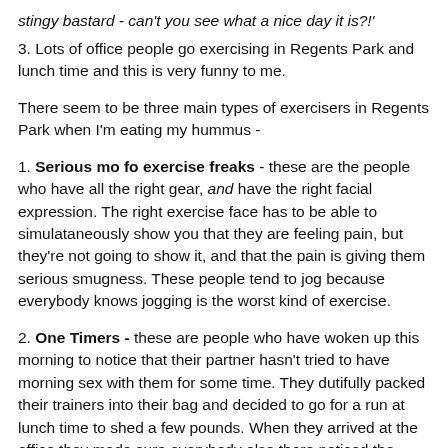stingy bastard - can't you see what a nice day it is?!'
3. Lots of office people go exercising in Regents Park and lunch time and this is very funny to me.
There seem to be three main types of exercisers in Regents Park when I'm eating my hummus -
1. Serious mo fo exercise freaks - these are the people who have all the right gear, and have the right facial expression. The right exercise face has to be able to simulataneously show you that they are feeling pain, but they're not going to show it, and that the pain is giving them serious smugness. These people tend to jog because everybody knows jogging is the worst kind of exercise.
2. One Timers - these are people who have woken up this morning to notice that their partner hasn't tried to have morning sex with them for some time. They dutifully packed their trainers into their bag and decided to go for a run at lunch time to shed a few pounds. When they arrived at the office they made sure everybody else there noticed the trainers so that their efforts were properly appreciated. It